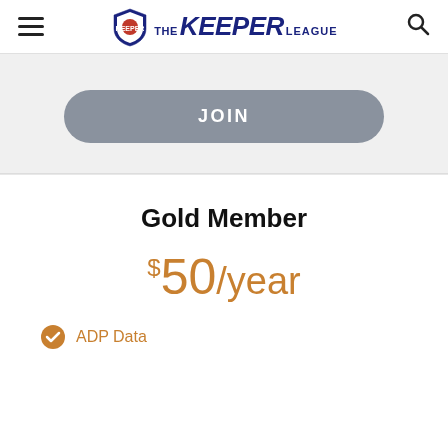THE KEEPER LEAGUE
JOIN
Gold Member
$50/year
ADP Data